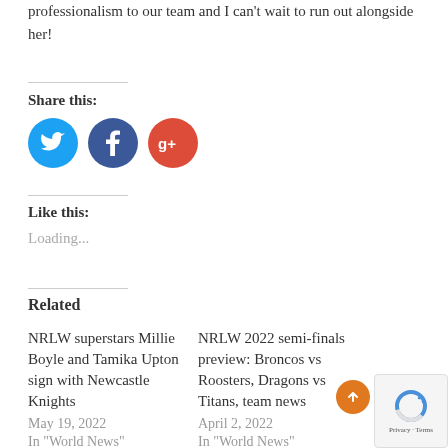professionalism to our team and I can't wait to run out alongside her!
Share this:
[Figure (illustration): Three social media share buttons: Twitter (blue circle), Facebook (dark blue circle), Google+ (red circle)]
Like this:
Loading...
Related
NRLW superstars Millie Boyle and Tamika Upton sign with Newcastle Knights
May 19, 2022
In "World News"
NRLW 2022 semi-finals preview: Broncos vs Roosters, Dragons vs Titans, team news
April 2, 2022
In "World News"
Rebuilt Red V on cusp of